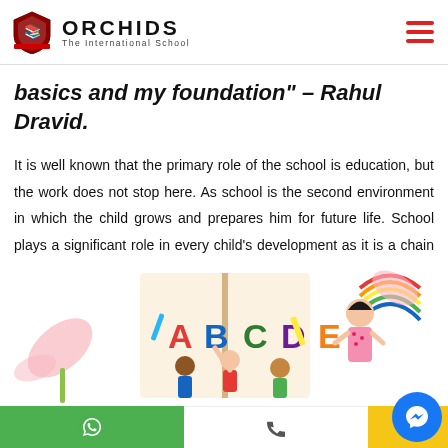ORCHIDS The International School
basics and my foundation" – Rahul Dravid.
It is well known that the primary role of the school is education, but the work does not stop here. As school is the second environment in which the child grows and prepares him for future life. School plays a significant role in every child's development as it is a chain that improves cognitive skills.
[Figure (illustration): Colorful educational illustration showing children and a teacher with ABC alphabet books, rainbow and plants in the background]